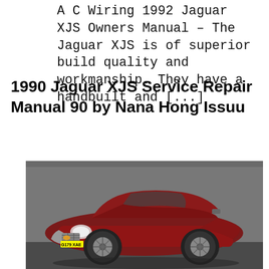A C Wiring 1992 Jaguar XJS Owners Manual – The Jaguar XJS is of superior build quality and workmanship. They have a handbuilt and [...]
1990 Jaguar XJS Service Repair Manual 90 by Nana Hong Issuu
[Figure (photo): A red/burgundy Jaguar XJS coupe parked indoors, front three-quarter view, with UK license plate G179 XAE, alloy wheels, and chrome front grille.]